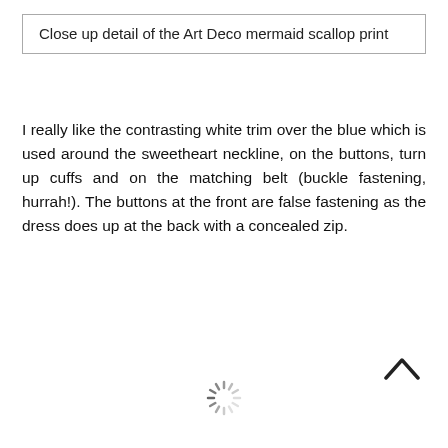Close up detail of the Art Deco mermaid scallop print
I really like the contrasting white trim over the blue which is used around the sweetheart neckline, on the buttons, turn up cuffs and on the matching belt (buckle fastening, hurrah!). The buttons at the front are false fastening as the dress does up at the back with a concealed zip.
[Figure (other): Scroll-up arrow icon (caret/chevron pointing upward)]
[Figure (other): Loading spinner icon (circular dashed ring)]